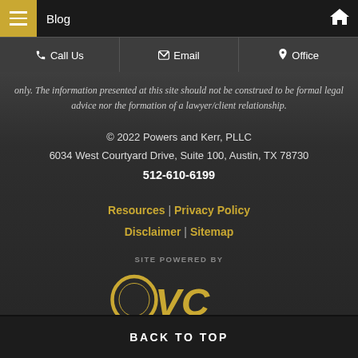Blog
Call Us | Email | Office
only. The information presented at this site should not be construed to be formal legal advice nor the formation of a lawyer/client relationship.
© 2022 Powers and Kerr, PLLC
6034 West Courtyard Drive, Suite 100, Austin, TX 78730
512-610-6199
Resources | Privacy Policy
Disclaimer | Sitemap
[Figure (logo): OVC Lawyer Marketing logo with golden OVC text and circular O design, 'SITE POWERED BY' above and 'LAWYER MARKETING' below]
BACK TO TOP